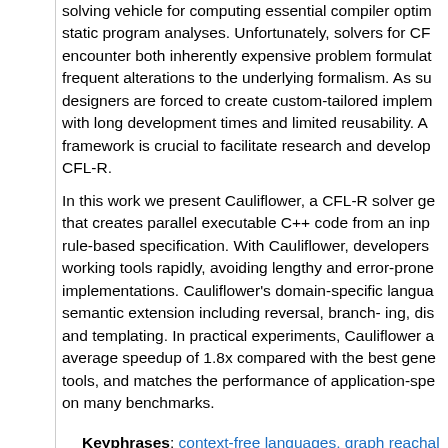solving vehicle for computing essential compiler optim... static program analyses. Unfortunately, solvers for CF... encounter both inherently expensive problem formulations and frequent alterations to the underlying formalism. As su... designers are forced to create custom-tailored implementations with long development times and limited reusability. A framework is crucial to facilitate research and development in CFL-R.
In this work we present Cauliflower, a CFL-R solver ge... that creates parallel executable C++ code from an input rule-based specification. With Cauliflower, developers can build working tools rapidly, avoiding lengthy and error-prone implementations. Cauliflower's domain-specific language is a semantic extension including reversal, branch-ing, dis... and templating. In practical experiments, Cauliflower achieves average speedup of 1.8x compared with the best general tools, and matches the performance of application-specific on many benchmarks.
Keyphrases: context-free languages, graph reachability, program analysis